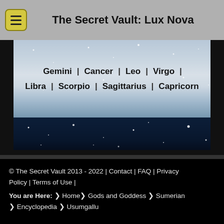The Secret Vault: Lux Nova
[Figure (screenshot): Banner image showing zodiac sign navigation links (Gemini, Cancer, Leo, Virgo, Libra, Scorpio, Sagittarius, Capricorn) over a starfield background with night sky]
© The Secret Vault 2013 - 2022 | Contact | FAQ | Privacy Policy | Terms of Use | You are Here: ❯ Home❯ Gods and Goddess ❯ Sumerian ❯ Encyclopedia ❯ Usumgallu